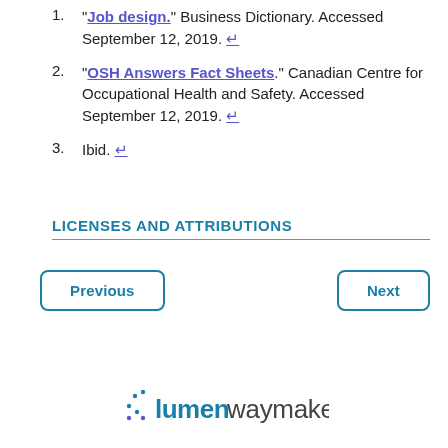1. "Job design." Business Dictionary. Accessed September 12, 2019. ↩
2. "OSH Answers Fact Sheets." Canadian Centre for Occupational Health and Safety. Accessed September 12, 2019. ↩
3. Ibid. ↩
LICENSES AND ATTRIBUTIONS
[Figure (logo): Lumen Waymaker logo with dots and stylized text]